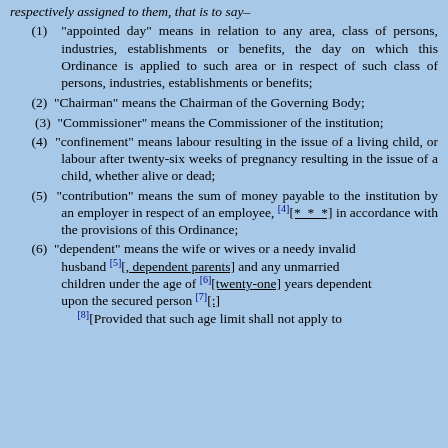respectively assigned to them, that is to say–
(1) "appointed day" means in relation to any area, class of persons, industries, establishments or benefits, the day on which this Ordinance is applied to such area or in respect of such class of persons, industries, establishments or benefits;
(2) "Chairman" means the Chairman of the Governing Body;
(3) "Commissioner" means the Commissioner of the institution;
(4) "confinement" means labour resulting in the issue of a living child, or labour after twenty-six weeks of pregnancy resulting in the issue of a child, whether alive or dead;
(5) "contribution" means the sum of money payable to the institution by an employer in respect of an employee, [4][* * *] in accordance with the provisions of this Ordinance;
(6) "dependent" means the wife or wives or a needy invalid husband [5][, dependent parents] and any unmarried children under the age of [6][twenty-one] years dependent upon the secured person [7][:] [8][Provided that such age limit shall not apply to